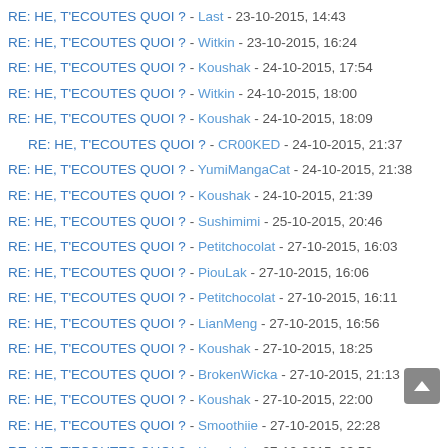RE: HE, T'ECOUTES QUOI ? - Last - 23-10-2015, 14:43
RE: HE, T'ECOUTES QUOI ? - Witkin - 23-10-2015, 16:24
RE: HE, T'ECOUTES QUOI ? - Koushak - 24-10-2015, 17:54
RE: HE, T'ECOUTES QUOI ? - Witkin - 24-10-2015, 18:00
RE: HE, T'ECOUTES QUOI ? - Koushak - 24-10-2015, 18:09
RE: HE, T'ECOUTES QUOI ? - CR00KED - 24-10-2015, 21:37
RE: HE, T'ECOUTES QUOI ? - YumiMangaCat - 24-10-2015, 21:38
RE: HE, T'ECOUTES QUOI ? - Koushak - 24-10-2015, 21:39
RE: HE, T'ECOUTES QUOI ? - Sushimimi - 25-10-2015, 20:46
RE: HE, T'ECOUTES QUOI ? - Petitchocolat - 27-10-2015, 16:03
RE: HE, T'ECOUTES QUOI ? - PiouLak - 27-10-2015, 16:06
RE: HE, T'ECOUTES QUOI ? - Petitchocolat - 27-10-2015, 16:11
RE: HE, T'ECOUTES QUOI ? - LianMeng - 27-10-2015, 16:56
RE: HE, T'ECOUTES QUOI ? - Koushak - 27-10-2015, 18:25
RE: HE, T'ECOUTES QUOI ? - BrokenWicka - 27-10-2015, 21:13
RE: HE, T'ECOUTES QUOI ? - Koushak - 27-10-2015, 22:00
RE: HE, T'ECOUTES QUOI ? - Smoothiie - 27-10-2015, 22:28
RE: HE, T'ECOUTES QUOI ? - Koushak - 27-10-2015, 22:50
RE: HE, T'ECOUTES QUOI ? - Witkin - 28-10-2015, 19:22
RE: HE, T'ECOUTES QUOI ? - Petitchocolat - 29-10-2015, 17:23
RE: HE, T'ECOUTES QUOI ? - Koushak - 29-10-2015, 17:28
RE: HE, T'ECOUTES QUOI ? - Petitchocolat - 30-10-2015, 4:05
RE: HE, T'ECOUTES QUOI ? - Grouyu - 30-10-2015, 22:49